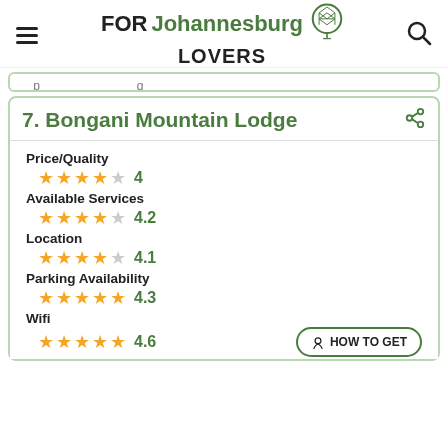FOR Johannesburg LOVERS
7. Bongani Mountain Lodge
| Category | Stars | Rating |
| --- | --- | --- |
| Price/Quality | ★★★★☆ | 4 |
| Available Services | ★★★★☆ | 4.2 |
| Location | ★★★★☆ | 4.1 |
| Parking Availability | ★★★★★ | 4.3 |
| Wifi | ★★★★★ | 4.6 |
HOW TO GET